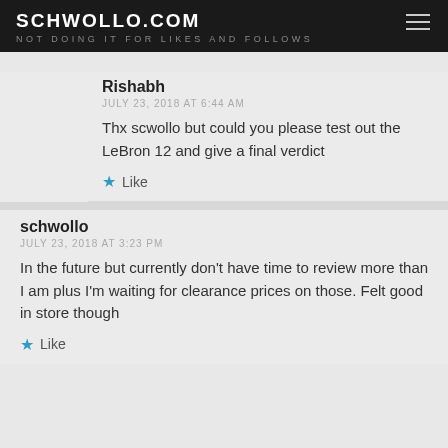SCHWOLLO.COM
NOT DOING IT FOR LIKES AND FOLLOWS
Rishabh
JULY 23, 2018 AT 6:44 AM
Thx scwollo but could you please test out the LeBron 12 and give a final verdict
★ Like
schwollo
JULY 23, 2018 AT 3:23 PM
In the future but currently don't have time to review more than I am plus I'm waiting for clearance prices on those. Felt good in store though
★ Like